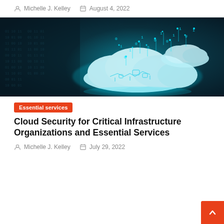Michelle J. Kelley  August 4, 2022
[Figure (illustration): Dark teal digital cloud computing illustration with glowing circuit patterns, binary digits floating upward, and layered cloud shapes on a dark background]
Essential services
Cloud Security for Critical Infrastructure Organizations and Essential Services
Michelle J. Kelley  July 29, 2022